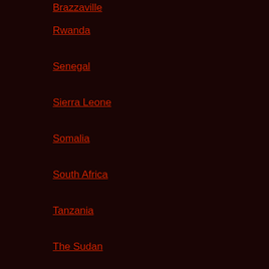Brazzaville
Rwanda
Senegal
Sierra Leone
Somalia
South Africa
Tanzania
The Sudan
Transaqua
Uganda
Uncategorised
World Affairs
Zambia
Zimbabwe